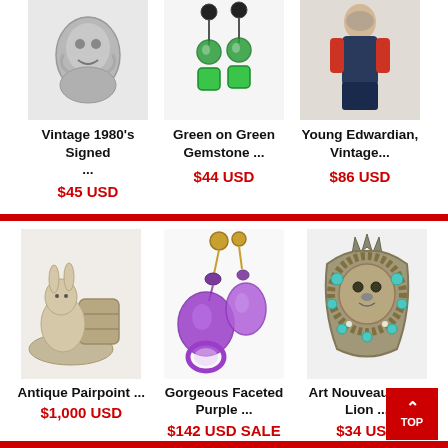[Figure (photo): Vintage 1980s signed silver-tone decorative brooch/figurine]
Vintage 1980's Signed ...
$45 USD
[Figure (photo): Green on Green Gemstone drop earrings with green beads]
Green on Green Gemstone ...
$44 USD
[Figure (photo): Young Edwardian vintage figurine/doll in period costume]
Young Edwardian, Vintage...
$86 USD
[Figure (photo): Antique Pairpoint silver rabbit and barrel figurine]
Antique Pairpoint ...
$1,000 USD
[Figure (photo): Gorgeous Faceted Purple amethyst drop earrings with gold posts]
Gorgeous Faceted Purple ...
$142 USD SALE
[Figure (photo): Art Nouveau Style Lion brooch with turquoise stones]
Art Nouveau Style Lion ...
$34 USD